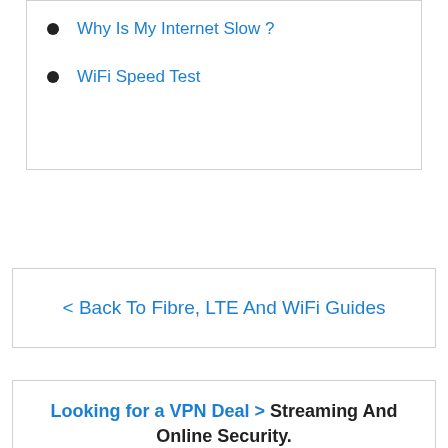Why Is My Internet Slow ?
WiFi Speed Test
< Back To Fibre, LTE And WiFi Guides
Looking for a VPN Deal > Streaming And Online Security.